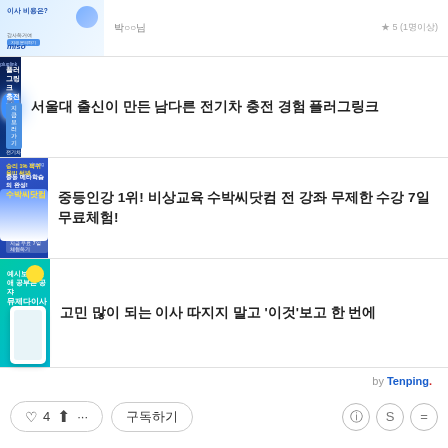[Figure (screenshot): Top partial ad thumbnail for moving service (이사 비용은?)]
[Figure (screenshot): Ad thumbnail: 플러그링크 충전기+ electric car charging service, dark blue background with glowing 0원]
서울대 출신이 만든 남다른 전기차 충전 경험 플러그링크
[Figure (screenshot): Ad thumbnail: 중등인강 1위! 비상교육 수박씨닷컴 blue background with teacher]
중등인강 1위! 비상교육 수박씨닷컴 전 강좌 무제한 수강 7일 무료체험!
[Figure (screenshot): Ad thumbnail: 유제다이사 moving service teal/turquoise background with phone mockup]
고민 많이 되는 이사 따지지 말고 '이것'보고 한 번에
by Tenping.
♡ 4  공유  ···   구독하기
카카오스토리  트위터  페이스북